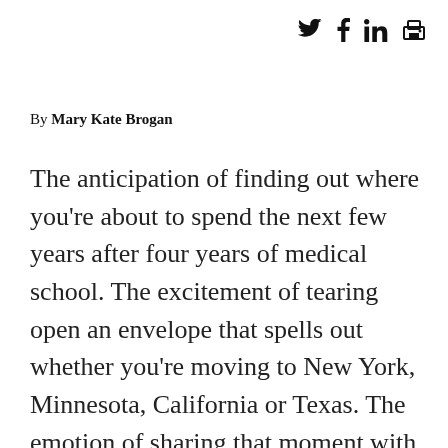social media share icons: Twitter, Facebook, LinkedIn, Print
By Mary Kate Brogan
The anticipation of finding out where you're about to spend the next few years after four years of medical school. The excitement of tearing open an envelope that spells out whether you're moving to New York, Minnesota, California or Texas. The emotion of sharing that moment with your family and friends, professors and fellow graduating classmates — in person or virtually. All of this is what makes medical students' residency Match Day special in